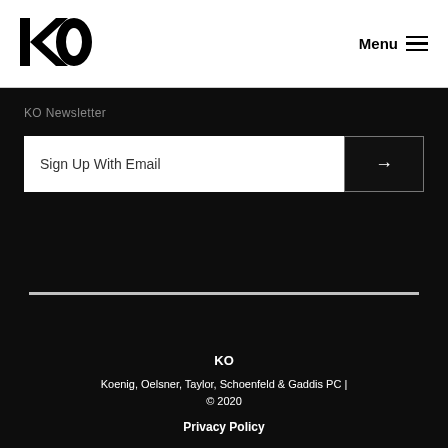[Figure (logo): KO logo — bold black letters K and O with the O having a circular cutout]
Menu
KO Newsletter
Sign Up With Email
KO
Koenig, Oelsner, Taylor, Schoenfeld & Gaddis PC | © 2020
Privacy Policy